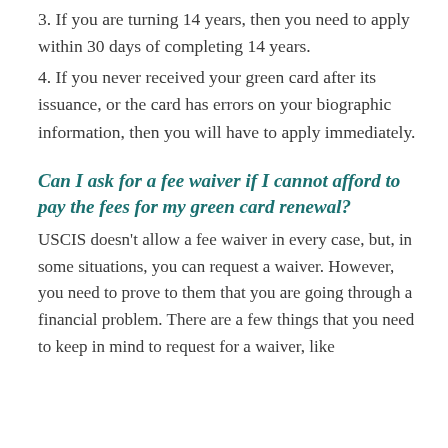3. If you are turning 14 years, then you need to apply within 30 days of completing 14 years.
4. If you never received your green card after its issuance, or the card has errors on your biographic information, then you will have to apply immediately.
Can I ask for a fee waiver if I cannot afford to pay the fees for my green card renewal?
USCIS doesn't allow a fee waiver in every case, but, in some situations, you can request a waiver. However, you need to prove to them that you are going through a financial problem. There are a few things that you need to keep in mind to request for a waiver, like